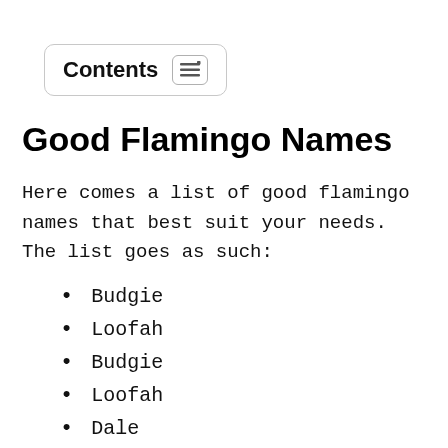Contents
Good Flamingo Names
Here comes a list of good flamingo names that best suit your needs. The list goes as such:
Budgie
Loofah
Budgie
Loofah
Dale